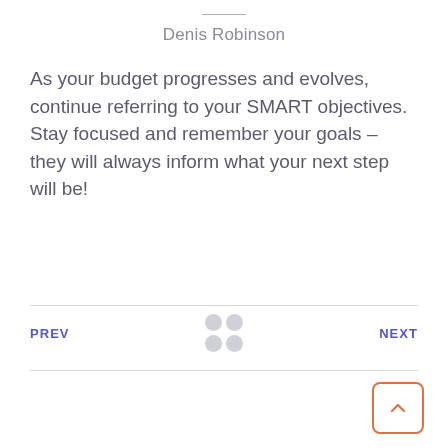Denis Robinson
As your budget progresses and evolves, continue referring to your SMART objectives. Stay focused and remember your goals – they will always inform what your next step will be!
PREV  NEXT